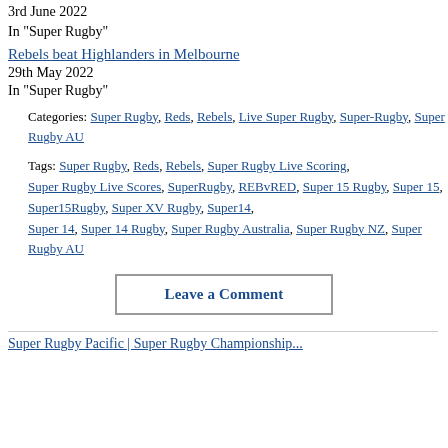3rd June 2022
In "Super Rugby"
Rebels beat Highlanders in Melbourne
29th May 2022
In "Super Rugby"
Categories: Super Rugby, Reds, Rebels, Live Super Rugby, Super-Rugby, Super Rugby AU
Tags: Super Rugby, Reds, Rebels, Super Rugby Live Scoring, Super Rugby Live Scores, SuperRugby, REBvRED, Super 15 Rugby, Super 15, Super15Rugby, Super XV Rugby, Super14, Super 14, Super 14 Rugby, Super Rugby Australia, Super Rugby NZ, Super Rugby AU
Leave a Comment
Super Rugby Pacific | Super Rugby Championship...